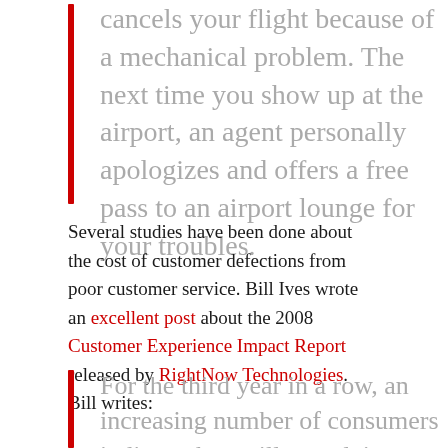cancels your flight because of a mechanical problem.  The next time you show up at the airport, an agent personally apologizes and offers a free pass to an airport lounge for your troubles.
Several studies have been done about the cost of customer defections from poor customer service.  Bill Ives wrote an excellent post about the 2008 Customer Experience Impact Report released by RightNow Technologies.  Bill writes:
For the third year in a row, an increasing number of consumers indicate they will stop doing